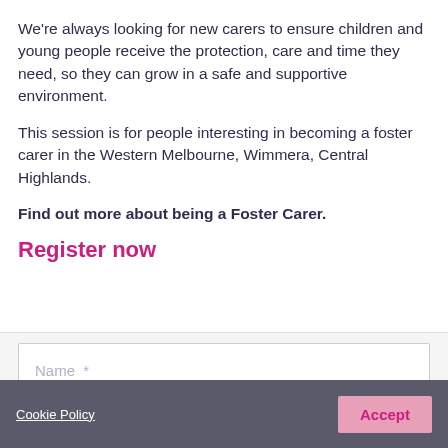We're always looking for new carers to ensure children and young people receive the protection, care and time they need, so they can grow in a safe and supportive environment.
This session is for people interesting in becoming a foster carer in the Western Melbourne, Wimmera, Central Highlands.
Find out more about being a Foster Carer.
Register now
Name *
Cookie Policy   Accept